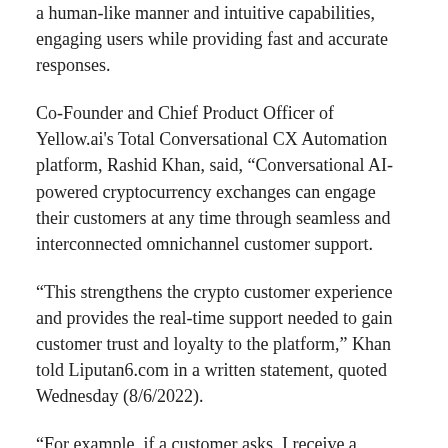a human-like manner and intuitive capabilities, engaging users while providing fast and accurate responses.
Co-Founder and Chief Product Officer of Yellow.ai's Total Conversational CX Automation platform, Rashid Khan, said, “Conversational AI-powered cryptocurrency exchanges can engage their customers at any time through seamless and interconnected omnichannel customer support.
“This strengthens the crypto customer experience and provides the real-time support needed to gain customer trust and loyalty to the platform,” Khan told Liputan6.com in a written statement, quoted Wednesday (8/6/2022).
“For example, if a customer asks, I receive a notification that my funds have been transferred from one place to another, but I don’t see any change in my ownership,” he explained.
In order to understand user intent and assist them with their next course of action, the dynamic AI conversational agent breaks down the question into “funds have been transferred from one wallet to